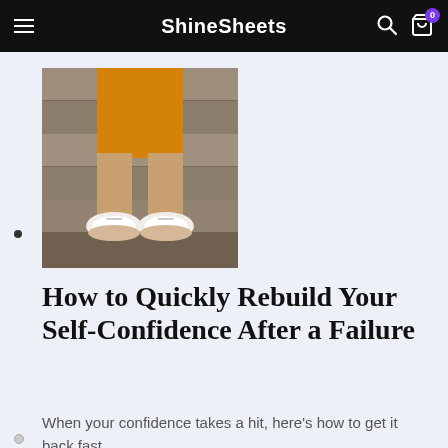ShineSheets
[Figure (photo): Photo of a person's lower body in a yellow/orange outfit with white sneakers, sitting on stone steps]
How to Quickly Rebuild Your Self-Confidence After a Failure
When your confidence takes a hit, here's how to get it back fast.
[Figure (photo): Photo of a person in distress, head in hands, partially visible against dark background]